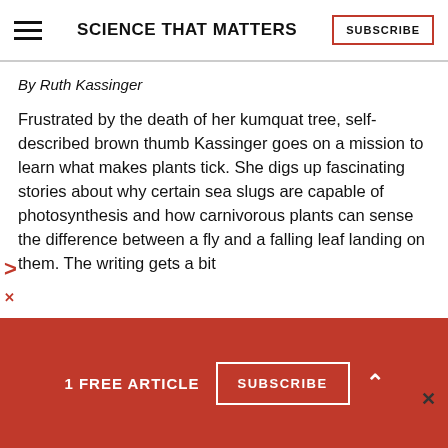SCIENCE THAT MATTERS
By Ruth Kassinger
Frustrated by the death of her kumquat tree, self-described brown thumb Kassinger goes on a mission to learn what makes plants tick. She digs up fascinating stories about why certain sea slugs are capable of photosynthesis and how carnivorous plants can sense the difference between a fly and a falling leaf landing on them. The writing gets a bit
1 FREE ARTICLE
SUBSCRIBE